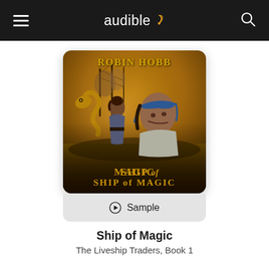audible
[Figure (photo): Audiobook cover art for 'Ship of Magic' by Robin Hobb. Shows two characters — a woman in period clothing and a man with a bandana — against a golden sunset sky with a tall ship and a golden sea serpent in the background. Title 'ROBIN HOBB' at top and 'SHIP of MAGIC' at bottom in gold lettering.]
Sample
Ship of Magic
The Liveship Traders, Book 1